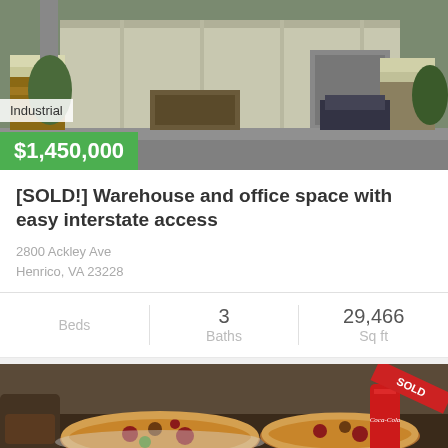[Figure (photo): Exterior photo of an industrial warehouse building with trucks and pallets of materials in the parking lot]
Industrial
$1,450,000
[SOLD!] Warehouse and office space with easy interstate access
2800 Ackley Ave
Henrico, VA 23228
Beds: — | Baths: 3 | Sq ft: 29,466
[Figure (photo): Photo of pizzas on plates with a Coca-Cola bottle, with a red SOLD ribbon overlay]